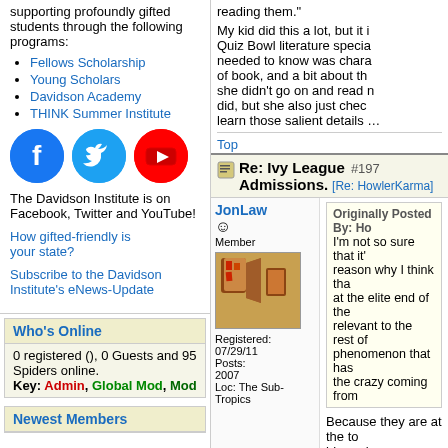supporting profoundly gifted students through the following programs:
Fellows Scholarship
Young Scholars
Davidson Academy
THINK Summer Institute
[Figure (logo): Facebook, Twitter, and YouTube social media icons]
The Davidson Institute is on Facebook, Twitter and YouTube!
How gifted-friendly is your state?
Subscribe to the Davidson Institute's eNews-Update
Who's Online
0 registered (), 0 Guests and 95 Spiders online.
Key: Admin, Global Mod, Mod
Newest Members
reading them."
My kid did this a lot, but it is Quiz Bowl literature specia... needed to know was chara... of book, and a bit about th... she didn't go on and read n... did, but she also just chec... learn those salient details ...
Top
Re: Ivy League Admissions. [Re: HowlerKarma]
#197
JonLaw
Member
Registered: 07/29/11
Posts: 2007
Loc: The Sub-Tropics
Originally Posted By: Ho...
I'm not so sure that it'... reason why I think tha... at the elite end of the... relevant to the rest of... phenomenon that has... the crazy coming from...
Because they are at the to... hierarchy.
So, if you are lower on the... emulate the institutions th...